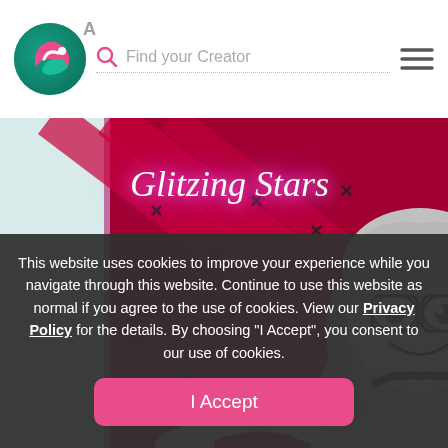Find your Creator
[Figure (illustration): Comic/manga style illustration titled 'Glitzing Stars' showing an anime-style character with glasses against a bright pink and red background with X marks/stars]
This website uses cookies to improve your experience while you navigate through this website. Continue to use this website as normal if you agree to the use of cookies. View our Privacy Policy for the details. By choosing "I Accept", you consent to our use of cookies.
I Accept